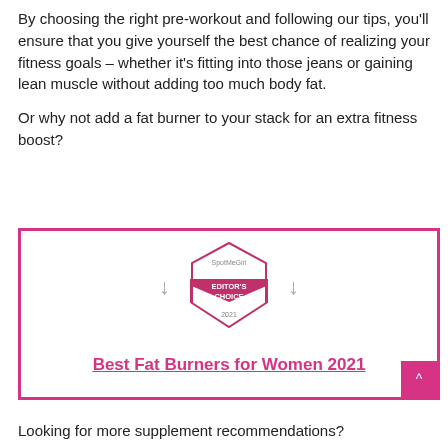By choosing the right pre-workout and following our tips, you'll ensure that you give yourself the best chance of realizing your fitness goals – whether it's fitting into those jeans or gaining lean muscle without adding too much body fat.

Or why not add a fat burner to your stack for an extra fitness boost?
[Figure (infographic): A pink-bordered box containing a SpotMeGirl Editor's Choice 2021 badge (diamond/ribbon shape) flanked by two downward arrows, with bold pink underlined text 'Best Fat Burners for Women 2021' below the badge. A pink scroll-to-top button appears at bottom right.]
Looking for more supplement recommendations?